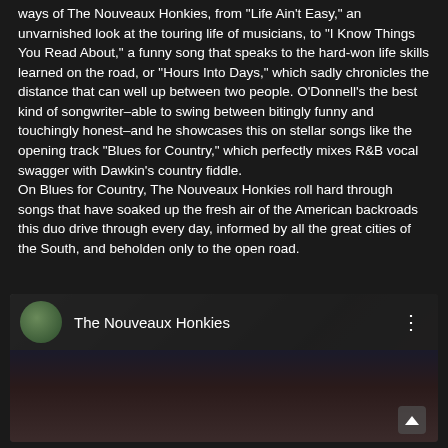ways of The Nouveaux Honkies, from “Life Ain’t Easy,” an unvarnished look at the touring life of musicians, to “I Know Things You Read About,” a funny song that speaks to the hard-won life skills learned on the road, or “Hours Into Days,” which sadly chronicles the distance that can well up between two people. O’Donnell’s the best kind of songwriter–able to swing between bitingly funny and touchingly honest–and he showcases this on stellar songs like the opening track “Blues for Country,” which perfectly mixes R&B vocal swagger with Dawkin's country fiddle.
On Blues for Country, The Nouveaux Honkies roll hard through songs that have soaked up the fresh air of the American backroads this duo drive through every day, informed by all the great cities of the South, and beholden only to the open road.
[Figure (screenshot): YouTube video embed showing The Nouveaux Honkies channel with avatar thumbnail and a musician playing violin in the background]